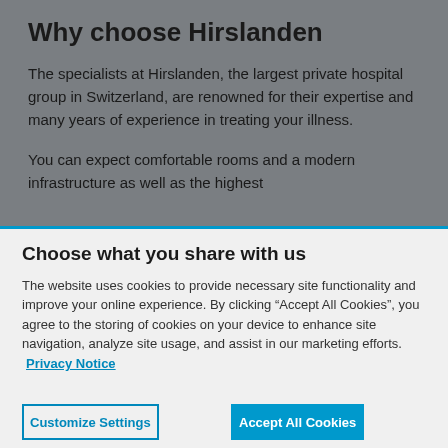Why choose Hirslanden
The specialists at Hirslanden, the largest private hospital group in Switzerland, are renowned for their expertise and many years of experience in treating your illness.
You can expect comfortable rooms and a modern infrastructure as well as the highest
Choose what you share with us
The website uses cookies to provide necessary site functionality and improve your online experience. By clicking “Accept All Cookies”, you agree to the storing of cookies on your device to enhance site navigation, analyze site usage, and assist in our marketing efforts. Privacy Notice
Customize Settings
Accept All Cookies